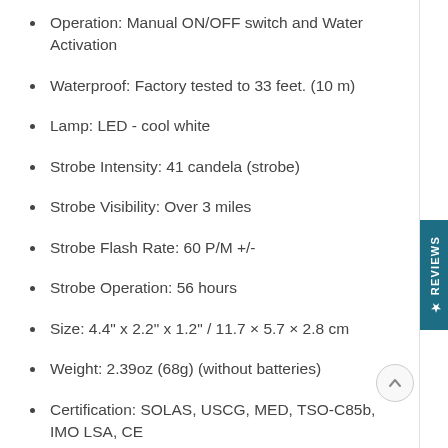Operation: Manual ON/OFF switch and Water Activation
Waterproof: Factory tested to 33 feet. (10 m)
Lamp: LED - cool white
Strobe Intensity: 41 candela (strobe)
Strobe Visibility: Over 3 miles
Strobe Flash Rate: 60 P/M +/-
Strobe Operation: 56 hours
Size: 4.4" x 2.2" x 1.2"  / 11.7 × 5.7 × 2.8 cm
Weight: 2.39oz (68g)  (without batteries)
Certification: SOLAS, USCG, MED, TSO-C85b, IMO LSA, CE
Specifications: